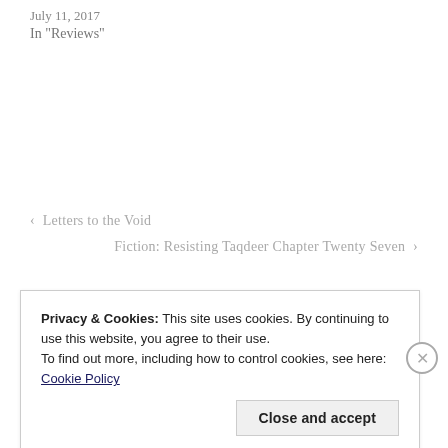July 11, 2017
In "Reviews"
< Letters to the Void
Fiction: Resisting Taqdeer Chapter Twenty Seven >
Privacy & Cookies: This site uses cookies. By continuing to use this website, you agree to their use.
To find out more, including how to control cookies, see here: Cookie Policy
Close and accept